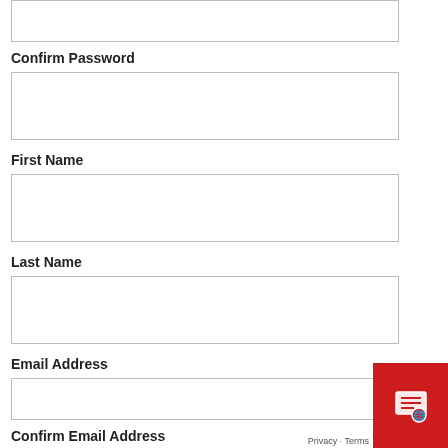Confirm Password
First Name
Last Name
Email Address
Confirm Email Address